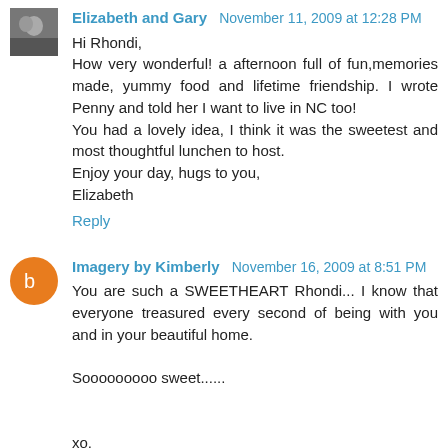Elizabeth and Gary  November 11, 2009 at 12:28 PM
Hi Rhondi,
How very wonderful! a afternoon full of fun,memories made, yummy food and lifetime friendship. I wrote Penny and told her I want to live in NC too!
You had a lovely idea, I think it was the sweetest and most thoughtful lunchen to host.
Enjoy your day, hugs to you,
Elizabeth
Reply
Imagery by Kimberly  November 16, 2009 at 8:51 PM
You are such a SWEETHEART Rhondi... I know that everyone treasured every second of being with you and in your beautiful home.

Sooooooooo sweet......


xo,